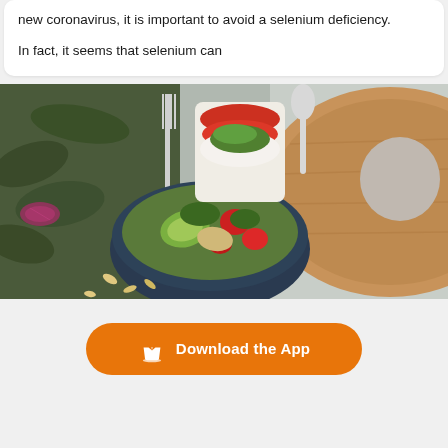new coronavirus, it is important to avoid a selenium deficiency. In fact, it seems that selenium can
[Figure (photo): Overhead photo of a colorful food spread on a wooden cutting board: a bowl of mixed salad with avocado, strawberries, and greens; a layered caprese-style dish with mozzarella, tomatoes, and pesto; a fork; set on a light gray surface.]
Download the App